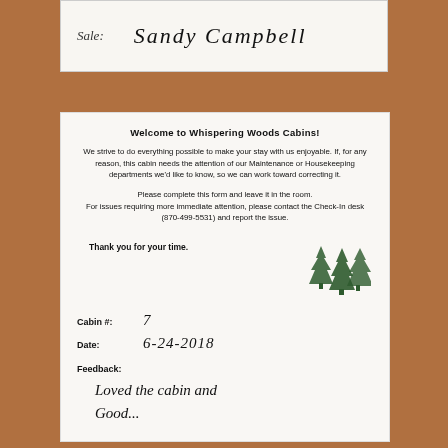[Figure (photo): Top portion of a feedback form showing handwritten signature 'Sandy Campbell' with partial label 'Sale:' on the left]
[Figure (photo): Feedback form from Whispering Woods Cabins on a wooden table. Printed text welcomes guests and asks for feedback. Handwritten fields show Cabin #: 7, Date: 6-24-2018, Feedback: 'Loved the cabin and Good...' (partially visible). Tree logo in bottom right of printed section.]